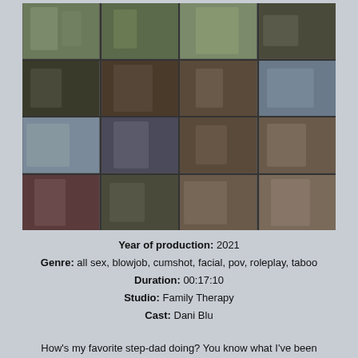[Figure (photo): 4x4 grid of video thumbnails showing scenes from the production]
Year of production: 2021
Genre: all sex, blowjob, cumshot, facial, pov, roleplay, taboo
Duration: 00:17:10
Studio: Family Therapy
Cast: Dani Blu
How's my favorite step-dad doing? You know what I've been